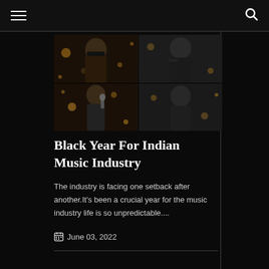Navigation header with hamburger menu and search icon
[Figure (photo): Collage of Indian music industry artists — a man in sunglasses with folded hands (left) and a man singing into a microphone (right), set against bokeh light backgrounds]
Black Year For Indian Music Industry
The industry is facing one setback after another.It's been a crucial year for the music industry life is so unpredictable....
June 03, 2022